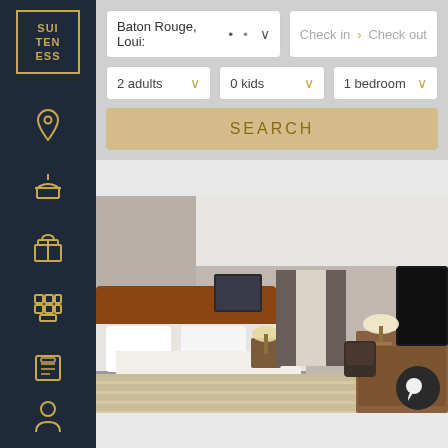[Figure (logo): Suiteness logo in gold on dark navy sidebar]
[Figure (other): Location pin icon]
[Figure (other): Concierge/tower icon]
[Figure (other): Gift/amenities icon]
[Figure (other): Hotel/rooms grid icon]
[Figure (other): Booking/itinerary icon]
[Figure (other): User/profile icon]
Baton Rouge, Loui:
Check in
Check out
2 adults
0 kids
1 bedroom
SEARCH
[Figure (photo): Hotel room with king bed, wooden headboard, white bedding, TV on wall, desk area, lamp, striped carpet, warm lighting]